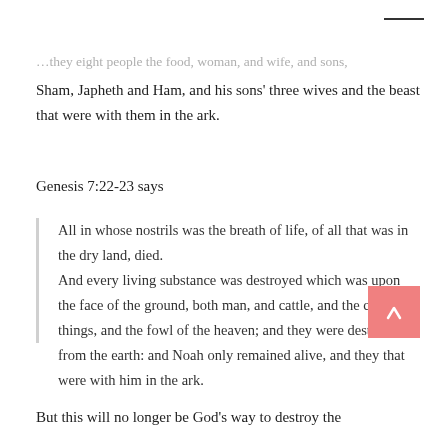…they eight people the food, woman, and wife, and sons, Sham, Japheth and Ham, and his sons' three wives and the beast that were with them in the ark.
Genesis 7:22-23 says
All in whose nostrils was the breath of life, of all that was in the dry land, died. And every living substance was destroyed which was upon the face of the ground, both man, and cattle, and the creeping things, and the fowl of the heaven; and they were destroyed from the earth: and Noah only remained alive, and they that were with him in the ark.
But this will no longer be God's way to destroy the